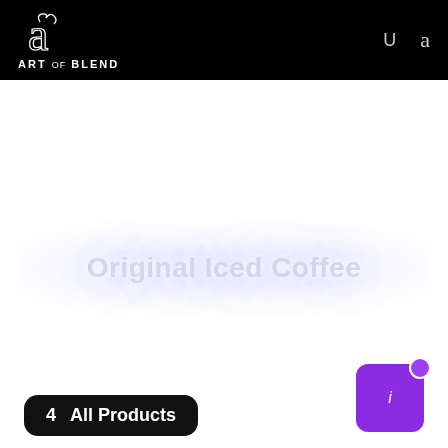ART OF BLEND
Original Iced Coffee
4  All Products